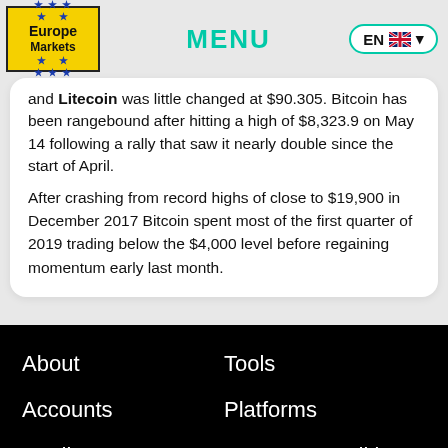[Figure (logo): Europe Markets yellow logo with blue stars]
MENU
EN (language selector button with UK flag)
and Litecoin was little changed at $90.305. Bitcoin has been rangebound after hitting a high of $8,323.9 on May 14 following a rally that saw it nearly double since the start of April.
After crashing from record highs of close to $19,900 in December 2017 Bitcoin spent most of the first quarter of 2019 trading below the $4,000 level before regaining momentum early last month.
About
Tools
Accounts
Platforms
Trading
Terms & Conditions
FAQ